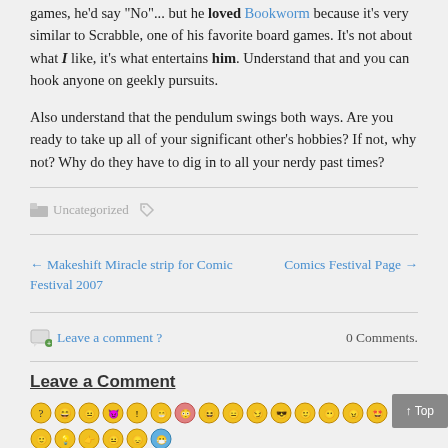games, he'd say "No"... but he loved Bookworm because it's very similar to Scrabble, one of his favorite board games. It's not about what I like, it's what entertains him. Understand that and you can hook anyone on geekly pursuits.
Also understand that the pendulum swings both ways. Are you ready to take up all of your significant other's hobbies? If not, why not? Why do they have to dig in to all your nerdy past times?
Uncategorized
← Makeshift Miracle strip for Comic Festival 2007
Comics Festival Page →
Leave a comment ?
0 Comments.
Leave a Comment
[Figure (other): Row of emoji/emoticon icons for comment form]
↑ Top